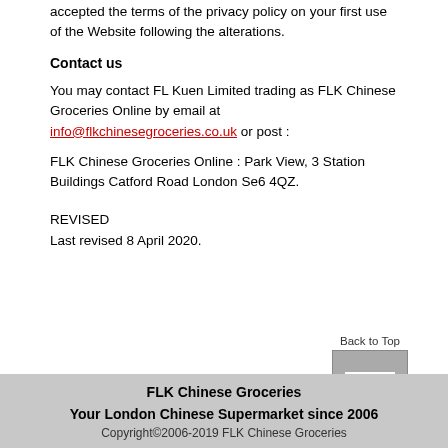accepted the terms of the privacy policy on your first use of the Website following the alterations.
Contact us
You may contact FL Kuen Limited trading as FLK Chinese Groceries Online by email at info@flkchinesegroceries.co.uk or post :
FLK Chinese Groceries Online : Park View, 3 Station Buildings Catford Road London Se6 4QZ.
REVISED
Last revised 8 April 2020.
[Figure (other): Back to Top button - a grey square button with a horizontal line and upward arrow symbol, labeled 'Back to Top']
FLK Chinese Groceries
Your London Chinese Supermarket since 2006
Copyright©2006-2019 FLK Chinese Groceries